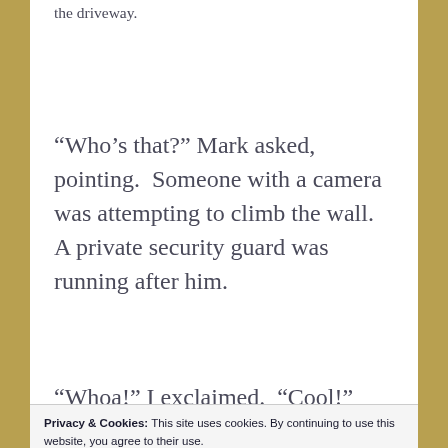the driveway.
“Who’s that?” Mark asked, pointing.  Someone with a camera was attempting to climb the wall.  A private security guard was running after him.
“Whoa!” I exclaimed.  “Cool!”
Privacy & Cookies: This site uses cookies. By continuing to use this website, you agree to their use.
To find out more, including how to control cookies, see here: Cookie Policy
We returned down Bristol Avenue to Sunset